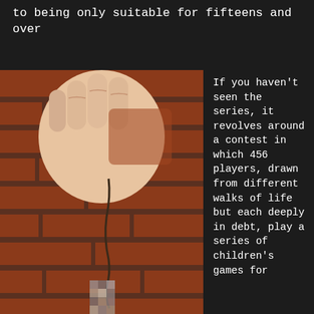to being only suitable for fifteens and over
[Figure (photo): A hand holding a wire with a small pixelated/blurred item hanging from it, against a red brick wall background.]
If you haven't seen the series, it revolves around a contest in which 456 players, drawn from different walks of life but each deeply in debt, play a series of children's games for